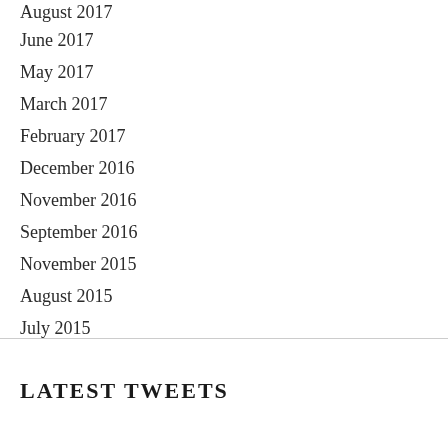August 2017
June 2017
May 2017
March 2017
February 2017
December 2016
November 2016
September 2016
November 2015
August 2015
July 2015
LATEST TWEETS